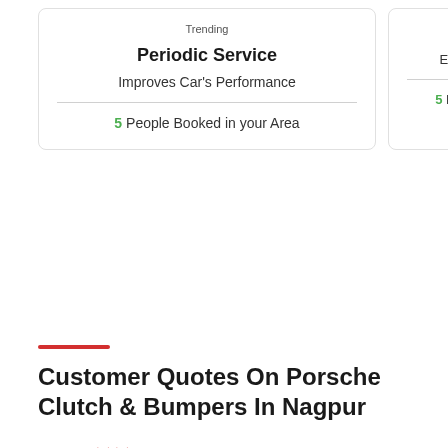Trending
Periodic Service
Improves Car's Performance
5 People Booked in your Area
Ca...
Enhance ...
5 People B...
Customer Quotes On Porsche Clutch & Bumpers In Nagpur
““
Best Replacement Services
I took my Porsche car to the GoMechanic car workshop in Nagpur. My car was not starting so the Service Buddy suggested getting Starter Motor